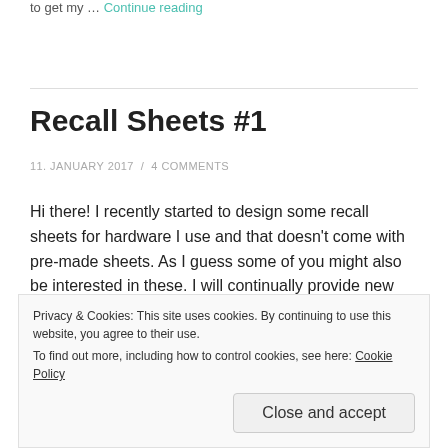to get my … Continue reading
Recall Sheets #1
11. JANUARY 2017 / 4 COMMENTS
Hi there! I recently started to design some recall sheets for hardware I use and that doesn't come with pre-made sheets. As I guess some of you might also be interested in these. I will continually provide new recall sheets as I
Privacy & Cookies: This site uses cookies. By continuing to use this website, you agree to their use.
To find out more, including how to control cookies, see here: Cookie Policy
Close and accept